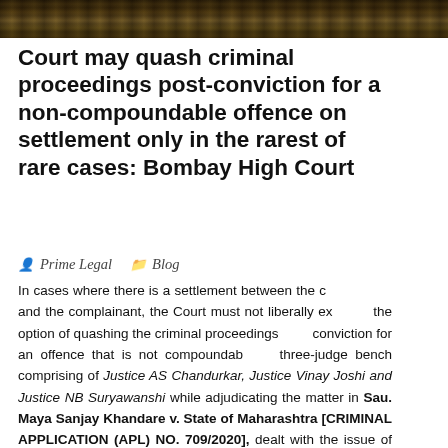[Figure (photo): Forest/trees background photo strip at the top of the page]
Court may quash criminal proceedings post-conviction for a non-compoundable offence on settlement only in the rarest of rare cases: Bombay High Court
Prime Legal   Blog
In cases where there is a settlement between the c… and the complainant, the Court must not liberally ex… the option of quashing the criminal proceedings … conviction for an offence that is not compoundab… three-judge bench comprising of Justice AS Chandurkar, Justice Vinay Joshi and Justice NB Suryawanshi while adjudicating the matter in Sau. Maya Sanjay Khandare v. State of Maharashtra [CRIMINAL APPLICATION (APL) NO. 709/2020], dealt with the issue of exercise of discretion under Section 482 of CrPC that states that: